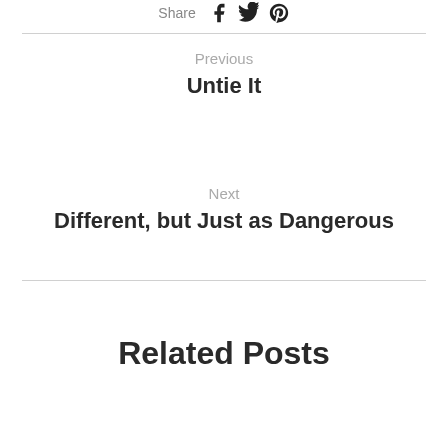[Figure (other): Social share icons: Facebook, Twitter, Pinterest]
Previous
Untie It
Next
Different, but Just as Dangerous
Related Posts